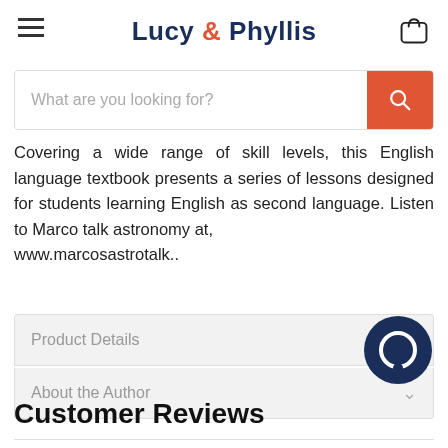Lucy & Phyllis
[Figure (screenshot): Search bar with placeholder 'What are you looking for?' and orange search button]
Covering a wide range of skill levels, this English language textbook presents a series of lessons designed for students learning English as second language. Listen to Marco talk astronomy at, www.marcosastrotalk..
Product Details
About the Author
Customer Reviews